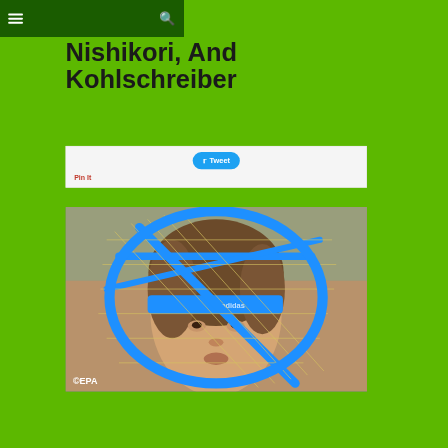≡  🔍
Nishikori, And Kohlschreiber
Tweet  Pin It
[Figure (photo): Close-up photo of a male tennis player wearing a blue Adidas headband, seen through the strings of a blue tennis racket. ©EPA watermark visible.]